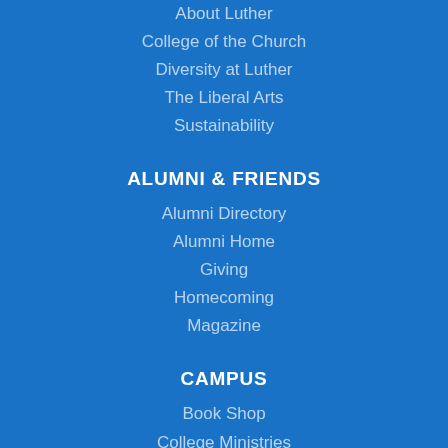About Luther
College of the Church
Diversity at Luther
The Liberal Arts
Sustainability
ALUMNI & FRIENDS
Alumni Directory
Alumni Home
Giving
Homecoming
Magazine
CAMPUS
Book Shop
College Ministries
Dining Services
Technology Help Desk